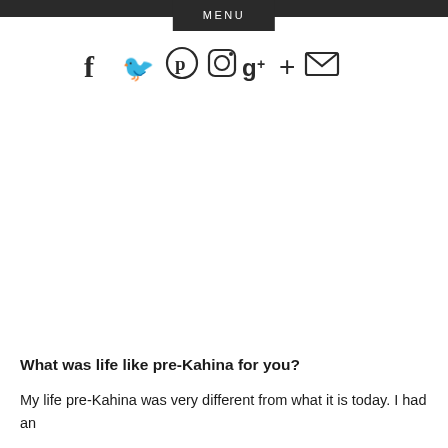MENU
[Figure (infographic): Social media icons row: Facebook, Twitter, Pinterest, Instagram, Google+, Plus, Email/Envelope]
What was life like pre-Kahina for you?
My life pre-Kahina was very different from what it is today. I had an